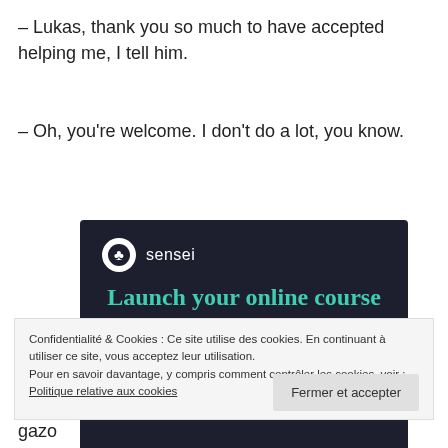– Lukas, thank you so much to have accepted helping me, I tell him.
– Oh, you're welcome. I don't do a lot, you know.
[Figure (illustration): Sensei advertisement banner with dark navy background. Shows Sensei logo (tree icon in white circle) with text 'sensei', headline 'Launch your online course with WordPress' in teal/green, and a 'Learn More' button in teal.]
Confidentialité & Cookies : Ce site utilise des cookies. En continuant à utiliser ce site, vous acceptez leur utilisation.
Pour en savoir davantage, y compris comment contrôler les cookies, voir :
Politique relative aux cookies
Fermer et accepter
gazo